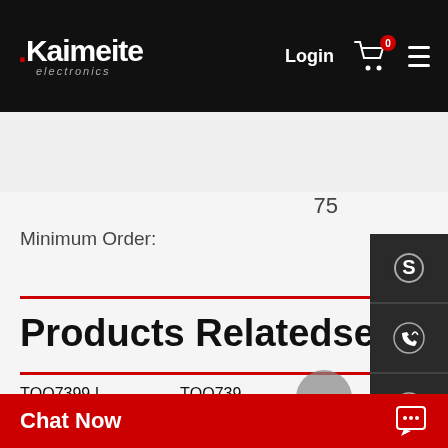[Figure (logo): Kaimeite electronics logo in white on black header, with red dot, Login text, cart icon with badge 0, and hamburger menu]
[Figure (screenshot): Search bar with placeholder 'Search...' and red search button]
75
Minimum Order:
Products Relatedsearch
TQQ7399 I...
TQQ739...
TQQ7399
TQQ789...
[Figure (infographic): Dark sidebar with contact icons: Skype (S), phone/WhatsApp, call with signal waves, email envelope]
Chat Now